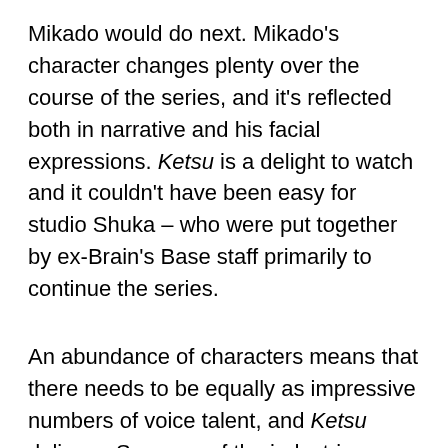Mikado would do next. Mikado's character changes plenty over the course of the series, and it's reflected both in narrative and his facial expressions. Ketsu is a delight to watch and it couldn't have been easy for studio Shuka – who were put together by ex-Brain's Base staff primarily to continue the series.
An abundance of characters means that there needs to be equally as impressive numbers of voice talent, and Ketsu delivers. So many of the industries greatest voice-actors and actresses including Johnny Yong Bosch, Kari Wahlgren, Michelle Ruff, Bryce Papenbrook, Yuri Lowenthal, Crispin Freeman and Darrel Guilbeau, and so many more, and they each do a phenomenal job. The series' OP's and ED's are as engaging as always,